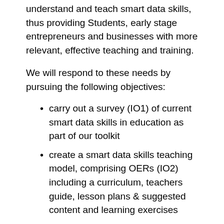understand and teach smart data skills, thus providing Students, early stage entrepreneurs and businesses with more relevant, effective teaching and training.
We will respond to these needs by pursuing the following objectives:
carry out a survey (IO1) of current smart data skills in education as part of our toolkit
create a smart data skills teaching model, comprising OERs (IO2) including a curriculum, teachers guide, lesson plans & suggested content and learning exercises
train the1st generation of Generation Data Teachers and Lecturers (learning activity) and widely disseminate the OERs to encourage rapid integration of the teaching course into current degree and short course provision